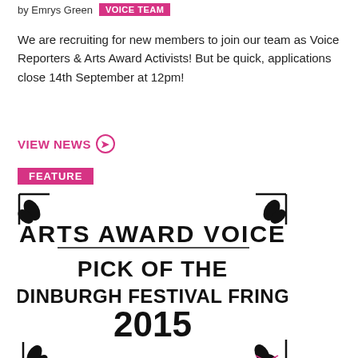by Emrys Green  VOICE TEAM
We are recruiting for new members to join our team as Voice Reporters & Arts Award Activists! But be quick, applications close 14th September at 12pm!
VIEW NEWS ➔
[Figure (illustration): Arts Award Voice Pick of the Edinburgh Festival Fringe 2015 badge/logo with decorative leaf/scissors motifs and FEATURE label. AUGUST 2015 text at bottom.]